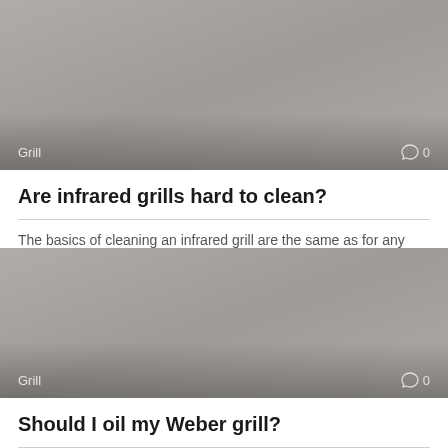[Figure (photo): Gray placeholder thumbnail image with 'Grill' label on lower left and comment icon with '0' on lower right]
Are infrared grills hard to clean?
The basics of cleaning an infrared grill are the same as for any grill,
[Figure (photo): Gray placeholder thumbnail image with 'Grill' label on lower left and comment icon with '0' on lower right]
Should I oil my Weber grill?